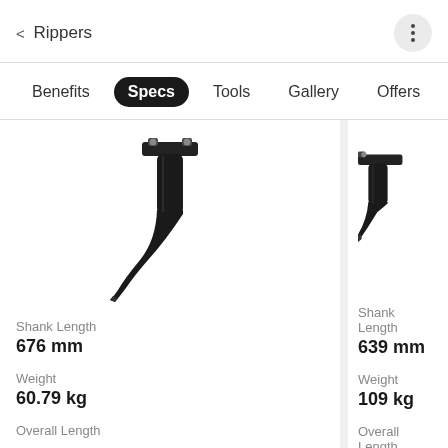< Rippers
Benefits  Specs  Tools  Gallery  Offers
[Figure (photo): Black ripper shank/tooth attachment, J-shaped curved shank with mounting bracket at top, photographed on white background]
Shank Length
676 mm
Weight
60.79 kg
Overall Length
[Figure (photo): Black ripper shank attachment, partially visible, photographed on white background]
Shank Length
639 mm
Weight
109 kg
Overall Length